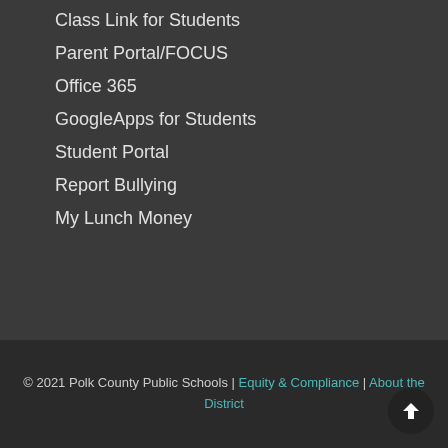Class Link for Students
Parent Portal/FOCUS
Office 365
GoogleApps for Students
Student Portal
Report Bullying
My Lunch Money
© 2021 Polk County Public Schools | Equity & Compliance | About the District